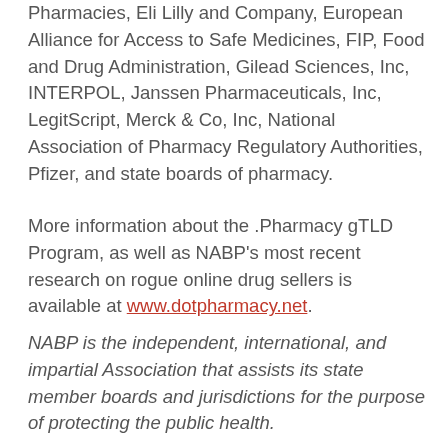Pharmacies, Eli Lilly and Company, European Alliance for Access to Safe Medicines, FIP, Food and Drug Administration, Gilead Sciences, Inc, INTERPOL, Janssen Pharmaceuticals, Inc, LegitScript, Merck & Co, Inc, National Association of Pharmacy Regulatory Authorities, Pfizer, and state boards of pharmacy.
More information about the .Pharmacy gTLD Program, as well as NABP's most recent research on rogue online drug sellers is available at www.dotpharmacy.net.
NABP is the independent, international, and impartial Association that assists its state member boards and jurisdictions for the purpose of protecting the public health.